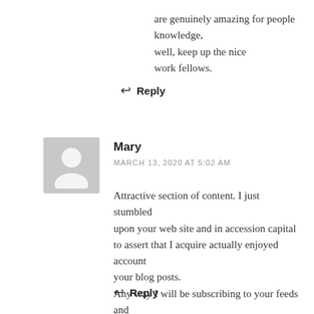are genuinely amazing for people knowledge, well, keep up the nice work fellows.
↩ Reply
Mary
MARCH 13, 2020 AT 5:02 AM
Attractive section of content. I just stumbled upon your web site and in accession capital to assert that I acquire actually enjoyed account your blog posts. Any way I will be subscribing to your feeds and even I achievement you access consistently rapidly.
↩ Reply